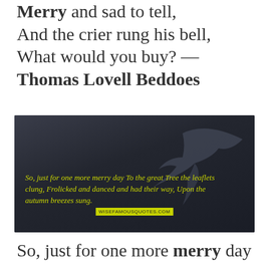Merry and sad to tell, And the crier rung his bell, What would you buy? — Thomas Lovell Beddoes
[Figure (illustration): Dark background image with a bird silhouette and yellow italic quote text: 'So, just for one more merry day To the great Tree the leaflets clung, Frolicked and danced and had their way, Upon the autumn breezes sung.' attributed to Sarah Chauncey Woolsey, with wisefamousquotes.com watermark]
So, just for one more merry day